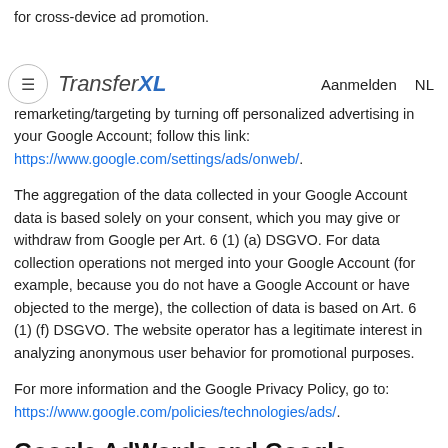for cross-device ad promotion.
You can permanently opt out of cross-device remarketing/targeting by turning off personalized advertising in your Google Account; follow this link: https://www.google.com/settings/ads/onweb/.
The aggregation of the data collected in your Google Account data is based solely on your consent, which you may give or withdraw from Google per Art. 6 (1) (a) DSGVO. For data collection operations not merged into your Google Account (for example, because you do not have a Google Account or have objected to the merge), the collection of data is based on Art. 6 (1) (f) DSGVO. The website operator has a legitimate interest in analyzing anonymous user behavior for promotional purposes.
For more information and the Google Privacy Policy, go to: https://www.google.com/policies/technologies/ads/.
Google AdWords and Google Conversion Tracking
This website uses Google AdWords. AdWords is an online